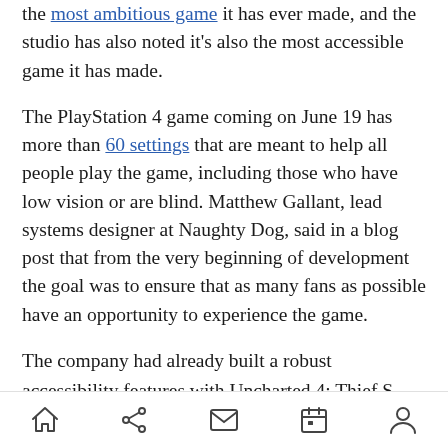the most ambitious game it has ever made, and the studio has also noted it's also the most accessible game it has made.
The PlayStation 4 game coming on June 19 has more than 60 settings that are meant to help all people play the game, including those who have low vision or are blind. Matthew Gallant, lead systems designer at Naughty Dog, said in a blog post that from the very beginning of development the goal was to ensure that as many fans as possible have an opportunity to experience the game.
The company had already built a robust accessibility features with Uncharted 4: Thief...
[home] [share] [mail] [calendar] [profile]